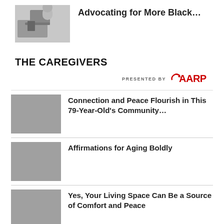[Figure (photo): Person writing at a desk, partial view]
Advocating for More Black…
THE CAREGIVERS
[Figure (logo): PRESENTED BY AARP logo in red]
[Figure (photo): Gray placeholder image]
Connection and Peace Flourish in This 79-Year-Old's Community…
[Figure (photo): Gray placeholder image]
Affirmations for Aging Boldly
[Figure (photo): Gray placeholder image]
Yes, Your Living Space Can Be a Source of Comfort and Peace
[Figure (photo): Gray placeholder image]
Uplifting Words if You're Ever in a Funk…